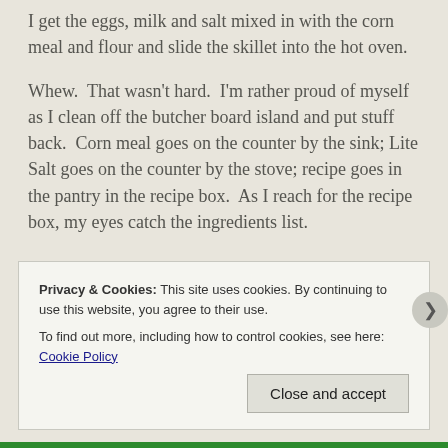I get the eggs, milk and salt mixed in with the corn meal and flour and slide the skillet into the hot oven.
Whew.  That wasn't hard.  I'm rather proud of myself as I clean off the butcher board island and put stuff back.  Corn meal goes on the counter by the sink; Lite Salt goes on the counter by the stove; recipe goes in the pantry in the recipe box.  As I reach for the recipe box, my eyes catch the ingredients list.
Privacy & Cookies: This site uses cookies. By continuing to use this website, you agree to their use. To find out more, including how to control cookies, see here: Cookie Policy